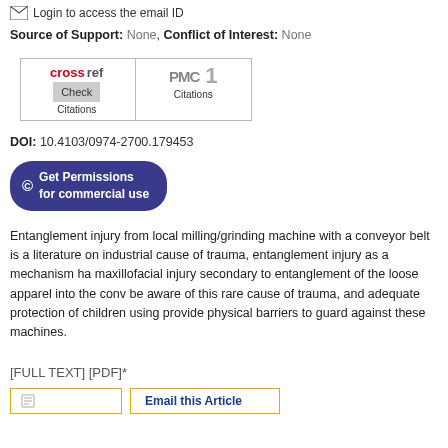Login to access the email ID
Source of Support: None, Conflict of Interest: None
[Figure (other): CrossRef Citations Check button and PMC Citations count (1) widget]
DOI: 10.4103/0974-2700.179453
[Figure (other): Get Permissions for commercial use button]
Entanglement injury from local milling/grinding machine with a conveyor belt is a literature on industrial cause of trauma, entanglement injury as a mechanism ha maxillofacial injury secondary to entanglement of the loose apparel into the conv be aware of this rare cause of trauma, and adequate protection of children using provide physical barriers to guard against these machines.
[FULL TEXT] [PDF]*
[Figure (other): Email this Article button]